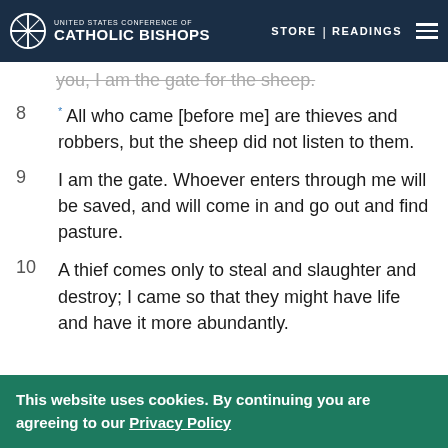UNITED STATES CONFERENCE OF CATHOLIC BISHOPS | STORE | READINGS
you, I am the gate for the sheep.
8 * All who came [before me] are thieves and robbers, but the sheep did not listen to them.
9 I am the gate. Whoever enters through me will be saved, and will come in and go out and find pasture.
10 A thief comes only to steal and slaughter and destroy; I came so that they might have life and have it more abundantly.
This website uses cookies. By continuing you are agreeing to our Privacy Policy